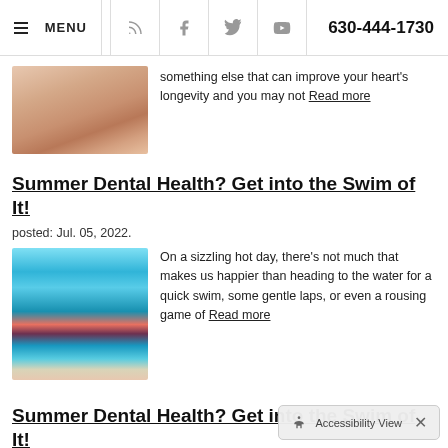≡ MENU | social icons | 630-444-1730
[Figure (photo): Close-up of a smiling woman forming a heart shape with her hands]
something else that can improve your heart's longevity and you may not Read more
Summer Dental Health? Get into the Swim of It!
posted: Jul. 05, 2022.
[Figure (photo): Three children wearing swim goggles smiling at a water park pool]
On a sizzling hot day, there's not much that makes us happier than heading to the water for a quick swim, some gentle laps, or even a rousing game of Read more
Summer Dental Health? Get into the Swim of It!